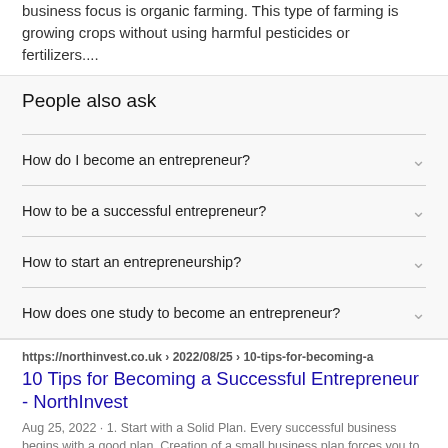business focus is organic farming. This type of farming is growing crops without using harmful pesticides or fertilizers....
People also ask
How do I become an entrepreneur?
How to be a successful entrepreneur?
How to start an entrepreneurship?
How does one study to become an entrepreneur?
https://northinvest.co.uk › 2022/08/25 › 10-tips-for-becoming-a
10 Tips for Becoming a Successful Entrepreneur - NorthInvest
Aug 25, 2022 · 1. Start with a Solid Plan. Every successful business begins with a good plan. Creation of a small business plan forces you to be more detailed about your concept and